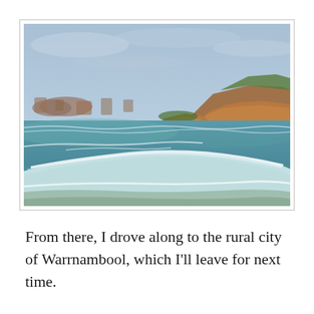[Figure (photo): Coastal landscape photograph showing a rocky shoreline with orange/brown sea stacks and cliffs in the background, turquoise-green ocean water with white breaking waves in the foreground, and an overcast light blue-grey sky. Taken from an elevated vantage point.]
From there, I drove along to the rural city of Warrnambool, which I'll leave for next time.